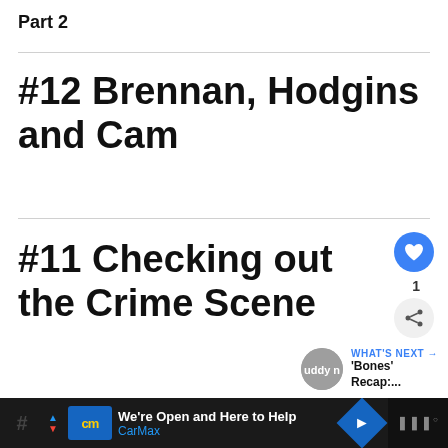Part 2
#12 Brennan, Hodgins and Cam
#11 Checking out the Crime Scene
[Figure (infographic): Like button (blue circle with heart icon) and share button below, with count '1' between them. 'WHAT'S NEXT' label with 'Bones' Recap:...' text and avatar.]
[Figure (screenshot): Ad bar at bottom: CarMax advertisement with 'We're Open and Here to Help' and CarMax logo, navigation arrow icon, and right side dark section with audio/menu icon]